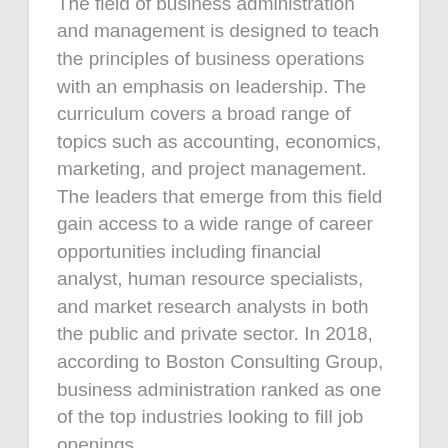The field of business administration and management is designed to teach the principles of business operations with an emphasis on leadership. The curriculum covers a broad range of topics such as accounting, economics, marketing, and project management. The leaders that emerge from this field gain access to a wide range of career opportunities including financial analyst, human resource specialists, and market research analysts in both the public and private sector. In 2018, according to Boston Consulting Group, business administration ranked as one of the top industries looking to fill job openings.